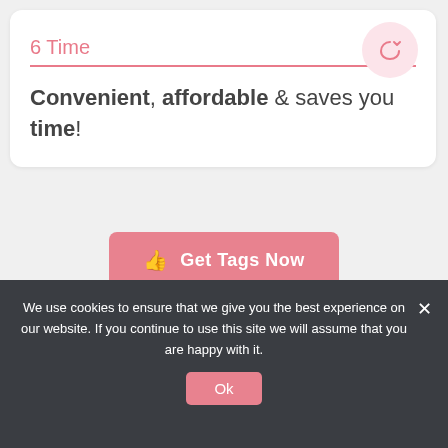6 Time
Convenient, affordable & saves you time!
Get Tags Now
We use cookies to ensure that we give you the best experience on our website. If you continue to use this site we will assume that you are happy with it.